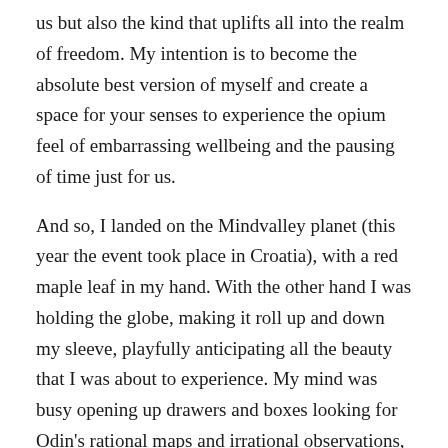us but also the kind that uplifts all into the realm of freedom. My intention is to become the absolute best version of myself and create a space for your senses to experience the opium feel of embarrassing wellbeing and the pausing of time just for us.
And so, I landed on the Mindvalley planet (this year the event took place in Croatia), with a red maple leaf in my hand. With the other hand I was holding the globe, making it roll up and down my sleeve, playfully anticipating all the beauty that I was about to experience. My mind was busy opening up drawers and boxes looking for Odin's rational maps and irrational observations, while my body slowly eased its way into colorful dresses and a blissful summer state of matter.